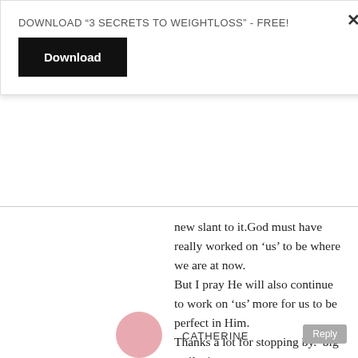DOWNLOAD “3 SECRETS TO WEIGHTLOSS” - FREE!
Download
new slant to it.God must have really worked on ‘us’ to be where we are at now.
But I pray He will also continue to work on ‘us’ more for us to be perfect in Him.
Thanks a lot for stopping by.*big smiles*
CATHERINE
Reply